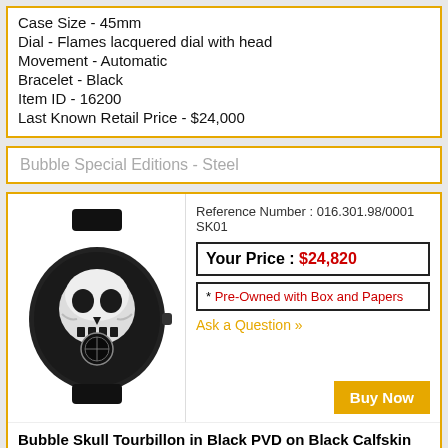Case Size - 45mm
Dial - Flames lacquered dial with head
Movement - Automatic
Bracelet - Black
Item ID - 16200
Last Known Retail Price - $24,000
Bubble Special Editions - Steel
Reference Number : 016.301.98/0001 SK01
Your Price : $24,820
* Pre-Owned with Box and Papers
Ask a Question »
[Figure (photo): Corum Bubble Skull Tourbillon watch with black PVD case and black skull dial]
Buy Now
Bubble Skull Tourbillon in Black PVD on Black Calfskin Leather Strap with Black Skull Dial
Case - Black PVD